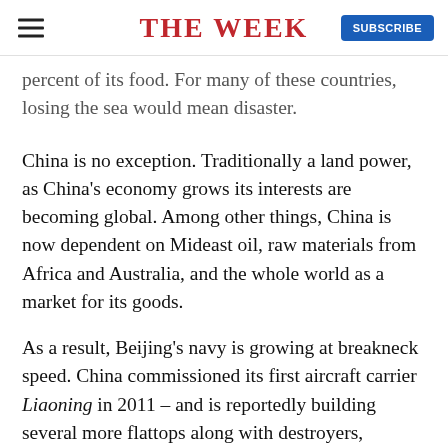THE WEEK
percent of its food. For many of these countries, losing the sea would mean disaster.
China is no exception. Traditionally a land power, as China's economy grows its interests are becoming global. Among other things, China is now dependent on Mideast oil, raw materials from Africa and Australia, and the whole world as a market for its goods.
As a result, Beijing's navy is growing at breakneck speed. China commissioned its first aircraft carrier Liaoning in 2011 – and is reportedly building several more flattops along with destroyers, frigates, and